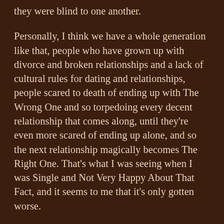they were blind to one another.
Personally, I think we have a whole generation like that, people who have grown up with divorce and broken relationships and a lack of cultural rules for dating and relationships, people scared to death of ending up with The Wrong One and so torpedoing every decent relationship that comes along, until they're even more scared of ending up alone, and so the next relationship magically becomes The Right One. That's what I was seeing when I was Single and Not Very Happy About That Fact, and it seems to me that it's only gotten worse.
What people need to realize is that marriage is almost always really made or destroyed within the marriage. Unless someone has made a stupid mistake (believers marrying unbelievers is the most common and biggest), marriage takes just one thing: "us" and "we" instead of "you" and "me." If I focus on what I want, to the exclusion of what my wife wants, then I'm just asking for trouble in our marriage. But if I pursue marriage with a focus on what's best for us together and not me individually, and if my wife does the same thing, then we have the potential for a fantastic marriage. It's a matter of perspective and choices that we make within the